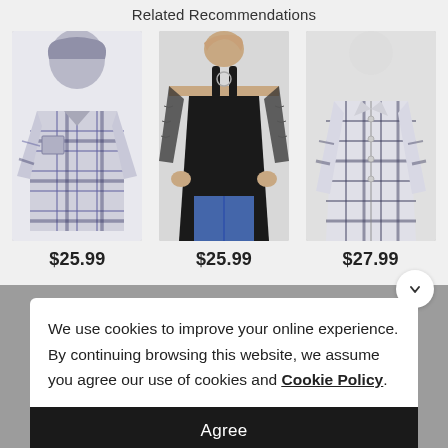Related Recommendations
[Figure (photo): Plaid hooded long-sleeve shirt, $25.99]
[Figure (photo): Black cold-shoulder lace top, $25.99]
[Figure (photo): Plaid button-down long-sleeve shirt, $27.99]
We use cookies to improve your online experience. By continuing browsing this website, we assume you agree our use of cookies and Cookie Policy.
Agree